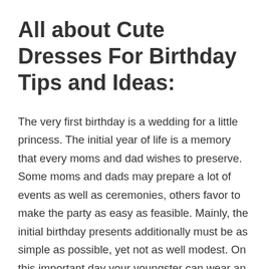All about Cute Dresses For Birthday Tips and Ideas:
The very first birthday is a wedding for a little princess. The initial year of life is a memory that every moms and dad wishes to preserve. Some moms and dads may prepare a lot of events as well as ceremonies, others favor to make the party as easy as feasible. Mainly, the initial birthday presents additionally must be as simple as possible, yet not as well modest. On this important day your youngster can wear an unique dress or outfit. In this situation, you must not only consider the